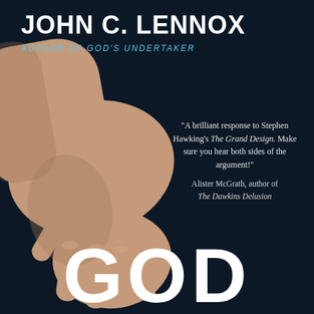JOHN C. LENNOX
AUTHOR OF GOD'S UNDERTAKER
[Figure (photo): A human hand reaching downward against a dark navy background, with fingers pointing down and slightly spread.]
"A brilliant response to Stephen Hawking's The Grand Design. Make sure you hear both sides of the argument!"
Alister McGrath, author of The Dawkins Delusion
GOD